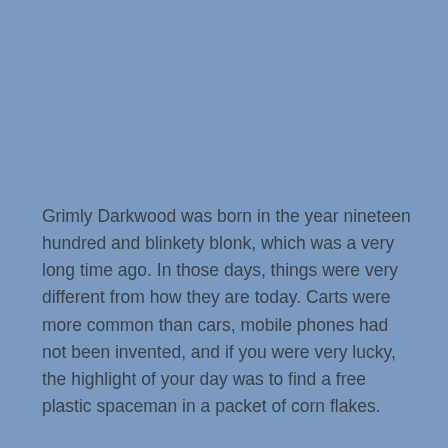Grimly Darkwood was born in the year nineteen hundred and blinkety blonk, which was a very long time ago. In those days, things were very different from how they are today. Carts were more common than cars, mobile phones had not been invented, and if you were very lucky, the highlight of your day was to find a free plastic spaceman in a packet of corn flakes.